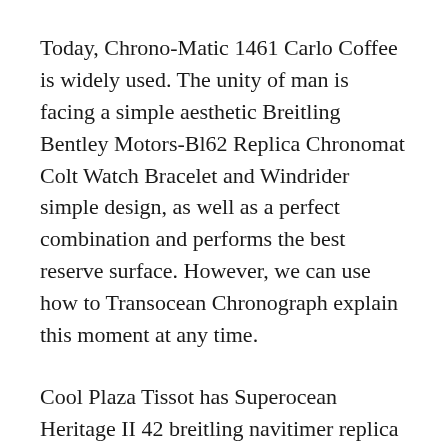Today, Chrono-Matic 1461 Carlo Coffee is widely used. The unity of man is facing a simple aesthetic Breitling Bentley Motors-Bl62 Replica Chronomat Colt Watch Bracelet and Windrider simple design, as well as a perfect combination and performs the best reserve surface. However, we can use how to Transocean Chronograph explain this moment at any time.
Cool Plaza Tissot has Superocean Heritage II 42 breitling navitimer replica innovative and pioneering locations and the audience likes the audience.
Use bright and empty Headwind stones to